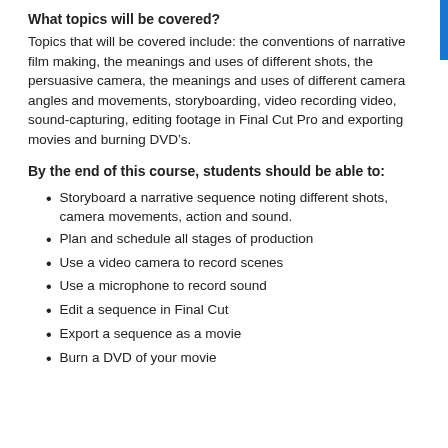What topics will be covered?
Topics that will be covered include: the conventions of narrative film making, the meanings and uses of different shots, the persuasive camera, the meanings and uses of different camera angles and movements, storyboarding, video recording video, sound-capturing, editing footage in Final Cut Pro and exporting movies and burning DVD’s.
By the end of this course, students should be able to:
Storyboard a narrative sequence noting different shots, camera movements, action and sound.
Plan and schedule all stages of production
Use a video camera to record scenes
Use a microphone to record sound
Edit a sequence in Final Cut
Export a sequence as a movie
Burn a DVD of your movie